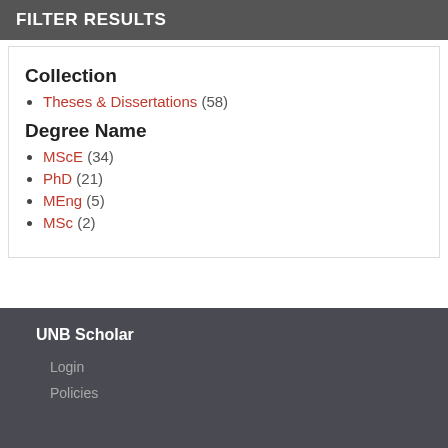FILTER RESULTS
Collection
Theses & Dissertations (58)
Degree Name
MScE (34)
PhD (21)
MEng (5)
MSc (2)
UNB Scholar
Login
Policies